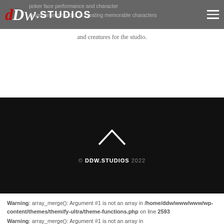dDw.STUDIOS
poker face performance and character development mindful in creating memorable characters and creatures for the studio.
© DDW.STUDIOS 2022
Warning: array_merge(): Argument #1 is not an array in /home/ddw/www/www/wp-content/themes/themify-ultra/theme-functions.php on line 2593
Warning: array_merge(): Argument #1 is not an array in